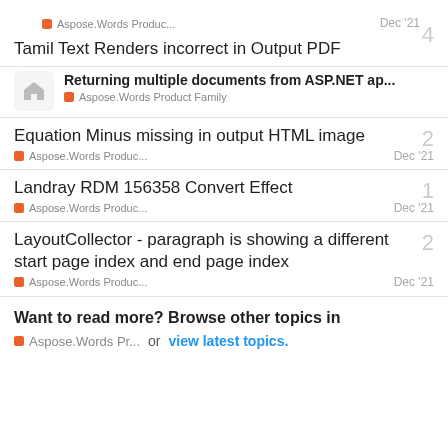Aspose.Words Produc... | Dec '21 | Tamil Text Renders incorrect in Output PDF | 4 replies
Returning multiple documents from ASP.NET ap... | Aspose.Words Product Family
Equation Minus missing in output HTML image | 2 replies | Aspose.Words Produc... | Dec '21
Landray RDM 156358 Convert Effect | 1 reply | Aspose.Words Produc... | Dec '21
LayoutCollector - paragraph is showing a different start page index and end page index | 2 replies | Aspose.Words Produc... | Dec '21
Want to read more? Browse other topics in Aspose.Words Pr... or view latest topics.